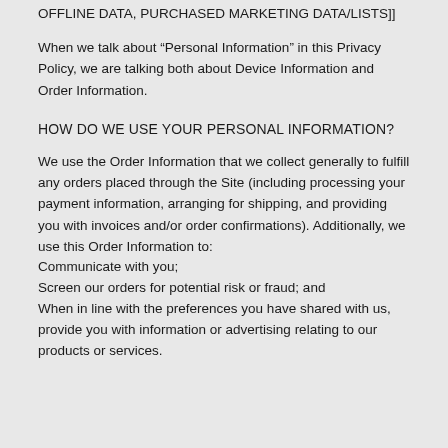OFFLINE DATA, PURCHASED MARKETING DATA/LISTS]]
When we talk about “Personal Information” in this Privacy Policy, we are talking both about Device Information and Order Information.
HOW DO WE USE YOUR PERSONAL INFORMATION?
We use the Order Information that we collect generally to fulfill any orders placed through the Site (including processing your payment information, arranging for shipping, and providing you with invoices and/or order confirmations). Additionally, we use this Order Information to:
Communicate with you;
Screen our orders for potential risk or fraud; and
When in line with the preferences you have shared with us, provide you with information or advertising relating to our products or services.